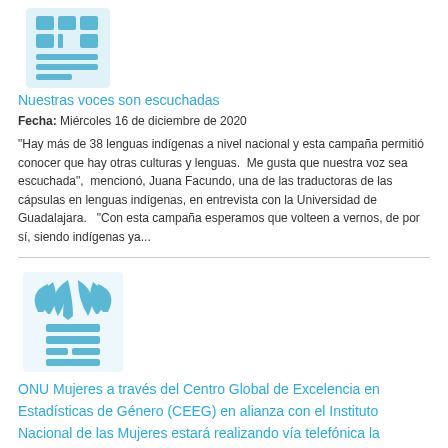[Figure (logo): Light blue stylized logo with grid/window pattern and horizontal bars, resembling an institutional emblem]
Nuestras voces son escuchadas
Fecha: Miércoles 16 de diciembre de 2020
"Hay más de 38 lenguas indígenas a nivel nacional y esta campaña permitió conocer que hay otras culturas y lenguas.  Me gusta que nuestra voz sea escuchada",  mencionó, Juana Facundo, una de las traductoras de las cápsulas en lenguas indígenas, en entrevista con la Universidad de Guadalajara.   "Con esta campaña esperamos que volteen a vernos, de por sí, siendo indígenas ya...
[Figure (logo): Light blue stylized UN Women logo with leaf/wing pattern forming a shield shape, with horizontal bars below]
ONU Mujeres a través del Centro Global de Excelencia en Estadísticas de Género (CEEG) en alianza con el Instituto Nacional de las Mujeres estará realizando vía telefónica la "Encuesta de